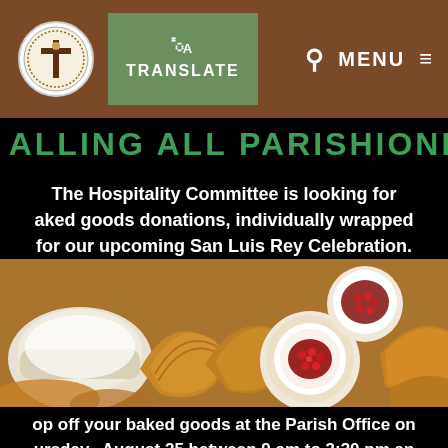TRANSLATE | MENU
CALLING ALL PARISHIONERS
The Hospitality Committee is looking for baked goods donations, individually wrapped for our upcoming San Luis Rey Celebration.
[Figure (photo): Assorted baked goods including croissants, powdered pastries, and tarts with pomegranate toppings on a wooden surface]
Drop off your baked goods at the Parish Office on Thursday, August 25 between 9 am to 3:30 pm and Friday, August 26 between 9 am to 2 pm.
Note: parish office closed for lunch from 12 pm to 12:30 pm